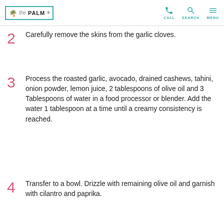the PALM | CALL | SEARCH | MENU
2  Carefully remove the skins from the garlic cloves.
3  Process the roasted garlic, avocado, drained cashews, tahini, onion powder, lemon juice, 2 tablespoons of olive oil and 3 Tablespoons of water in a food processor or blender. Add the water 1 tablespoon at a time until a creamy consistency is reached.
4  Transfer to a bowl. Drizzle with remaining olive oil and garnish with cilantro and paprika.